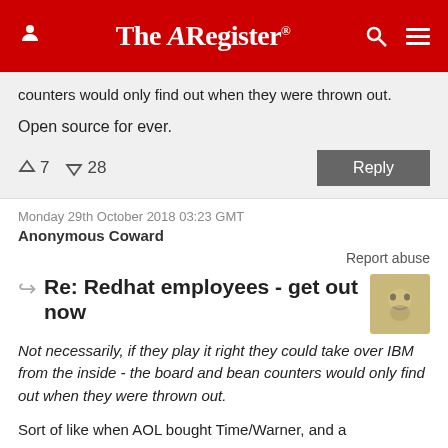The Register
counters would only find out when they were thrown out.
Open source for ever.
↑7  ↓28
Monday 29th October 2018 03:23 GMT
Anonymous Coward
Report abuse
Re: Redhat employees - get out now
Not necessarily, if they play it right they could take over IBM from the inside - the board and bean counters would only find out when they were thrown out.
Sort of like when AOL bought Time/Warner, and a